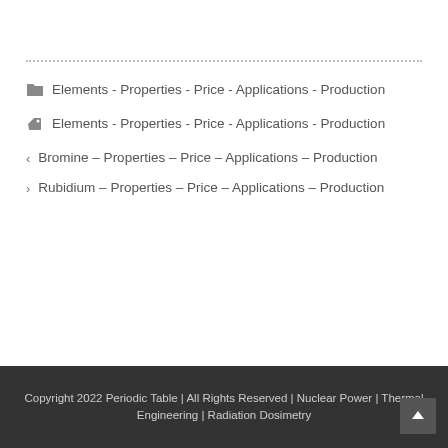Elements - Properties - Price - Applications - Production
Elements - Properties - Price - Applications - Production
Bromine – Properties – Price – Applications – Production
Rubidium – Properties – Price – Applications – Production
Copyright 2022 Periodic Table | All Rights Reserved | Nuclear Power | Thermal Engineering | Radiation Dosimetry